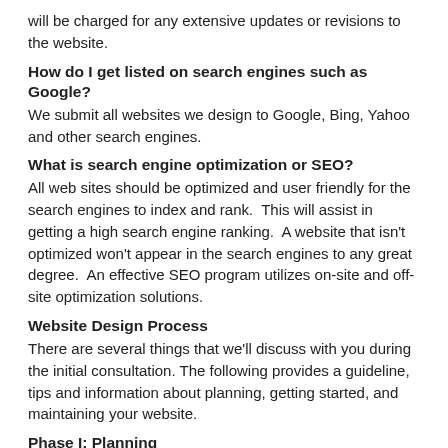will be charged for any extensive updates or revisions to the website.
How do I get listed on search engines such as Google?
We submit all websites we design to Google, Bing, Yahoo and other search engines.
What is search engine optimization or SEO?
All web sites should be optimized and user friendly for the search engines to index and rank.  This will assist in getting a high search engine ranking.  A website that isn't optimized won't appear in the search engines to any great degree.  An effective SEO program utilizes on-site and off-site optimization solutions.
Website Design Process
There are several things that we'll discuss with you during the initial consultation. The following provides a guideline, tips and information about planning, getting started, and maintaining your website.
Phase I: Planning
Be prepared with your information prior to your consultation